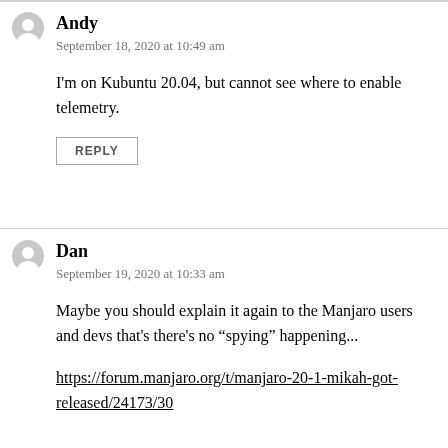Andy
September 18, 2020 at 10:49 am
I'm on Kubuntu 20.04, but cannot see where to enable telemetry.
REPLY
Dan
September 19, 2020 at 10:33 am
Maybe you should explain it again to the Manjaro users and devs that's there's no “spying” happening...
https://forum.manjaro.org/t/manjaro-20-1-mikah-got-released/24173/30